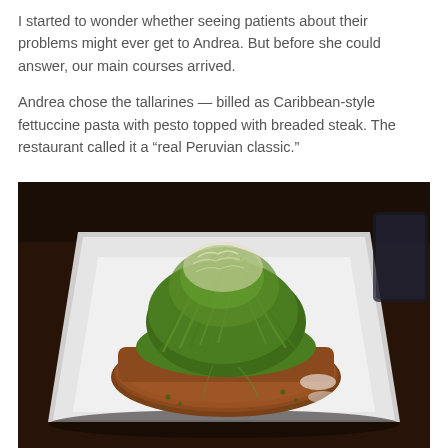I started to wonder whether seeing patients about their problems might ever get to Andrea. But before she could answer, our main courses arrived.
Andrea chose the tallarines — billed as Caribbean-style fettuccine pasta with pesto topped with breaded steak. The restaurant called it a “real Peruvian classic.”
[Figure (photo): A restaurant dish showing green pesto fettuccine pasta piled high on top of a breaded steak, served on a white square plate, photographed in dim restaurant lighting.]